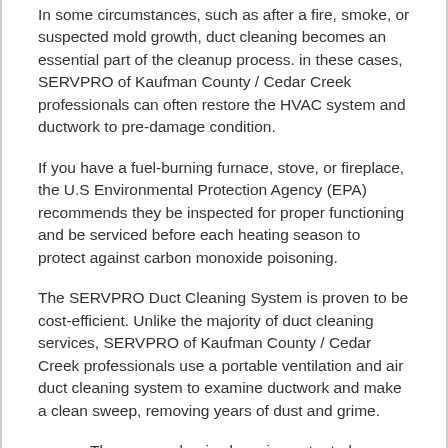In some circumstances, such as after a fire, smoke, or suspected mold growth, duct cleaning becomes an essential part of the cleanup process. in these cases, SERVPRO of Kaufman County / Cedar Creek professionals can often restore the HVAC system and ductwork to pre-damage condition.
If you have a fuel-burning furnace, stove, or fireplace, the U.S Environmental Protection Agency (EPA) recommends they be inspected for proper functioning and be serviced before each heating season to protect against carbon monoxide poisoning.
The SERVPRO Duct Cleaning System is proven to be cost-efficient. Unlike the majority of duct cleaning services, SERVPRO of Kaufman County / Cedar Creek professionals use a portable ventilation and air duct cleaning system to examine ductwork and make a clean sweep, removing years of dust and grime.
The process begins by using patented equipment, including a roto-scraper, which automatically adapts to the duct's shape and diameter while traveling through the duct, removing debris and filth before vacuuming it up.